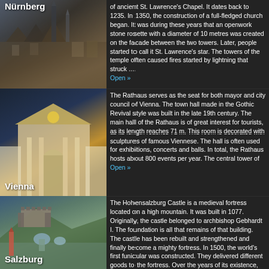[Figure (photo): Aerial/cityscape view of Nurnberg with church spires and rooftops]
of ancient St. Lawrence's Chapel. It dates back to 1235. In 1350, the construction of a full-fledged church began. It was during these years that an openwork stone rosette with a diameter of 10 metres was created on the facade between the two towers. Later, people started to call it St. Lawrence's star. The towers of the temple often caused fires started by lightning that struck … Open »
[Figure (photo): Vienna Rathaus building with Gothic Revival architecture, illuminated at dusk]
The Rathaus serves as the seat for both mayor and city council of Vienna. The town hall made in the Gothic Revival style was built in the late 19th century. The main hall of the Rathaus is of great interest for tourists, as its length reaches 71 m. This room is decorated with sculptures of famous Viennese. The hall is often used for exhibitions, concerts and balls. In total, the Rathaus hosts about 800 events per year. The central tower of … Open »
[Figure (photo): Panoramic view of Salzburg with Hohensalzburg Castle on the mountain and historic city below]
The Hohensalzburg Castle is a medieval fortress located on a high mountain. It was built in 1077. Originally, the castle belonged to archbishop Gebhardt I. The foundation is all that remains of that building. The castle has been rebuilt and strengthened and finally become a mighty fortress. In 1500, the world's first funicular was constructed. They delivered different goods to the fortress. Over the years of its existence, the … Open »